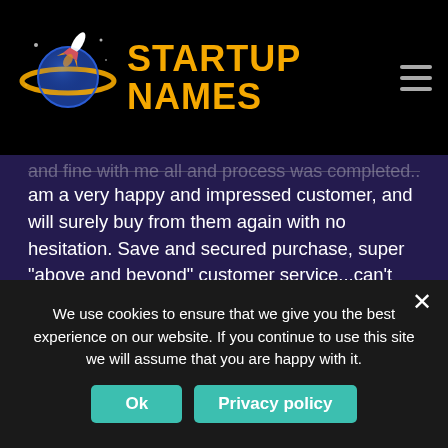STARTUP NAMES
...and fine with me all and process was completed... am a very happy and impressed customer, and will surely buy from them again with no hesitation. Save and secured purchase, super "above and beyond" customer service...can't beat that.
[Figure (logo): User avatar icon - orange person silhouette on dark purple circle background]
PaySeason.com
Darren Chapin
We use cookies to ensure that we give you the best experience on our website. If you continue to use this site we will assume that you are happy with it.